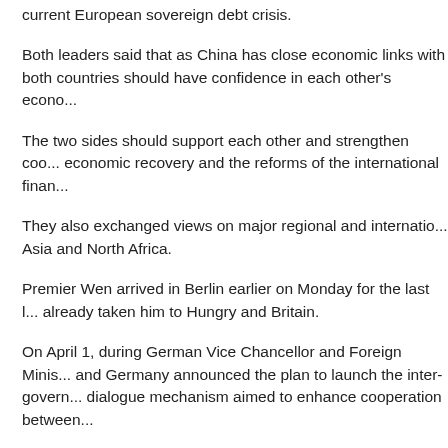current European sovereign debt crisis.
Both leaders said that as China has close economic links with both countries should have confidence in each other's econo...
The two sides should support each other and strengthen coo... economic recovery and the reforms of the international finan...
They also exchanged views on major regional and internatio... Asia and North Africa.
Premier Wen arrived in Berlin earlier on Monday for the last l... already taken him to Hungry and Britain.
On April 1, during German Vice Chancellor and Foreign Mini... and Germany announced the plan to launch the inter-govern... dialogue mechanism aimed to enhance cooperation between...
China-Germany ties have experienced a positive, smooth de... increasing number of high-level meetings.
Merkel emphasized the "completely new level" and "new sta... to China last July.